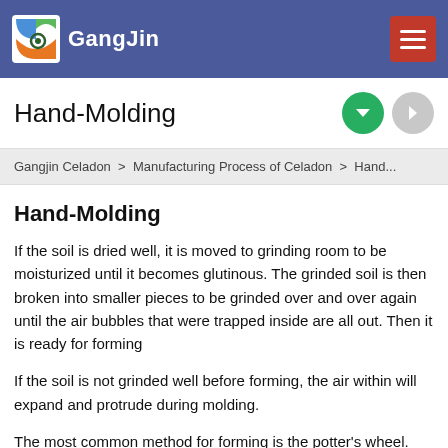GangJin
Hand-Molding
Gangjin Celadon > Manufacturing Process of Celadon > Hand...
Hand-Molding
If the soil is dried well, it is moved to grinding room to be moisturized until it becomes glutinous. The grinded soil is then broken into smaller pieces to be grinded over and over again until the air bubbles that were trapped inside are all out. Then it is ready for forming
If the soil is not grinded well before forming, the air within will expand and protrude during molding.
The most common method for forming is the potter's wheel. After forming, it is adequately dried to be mounted on the wheel again for